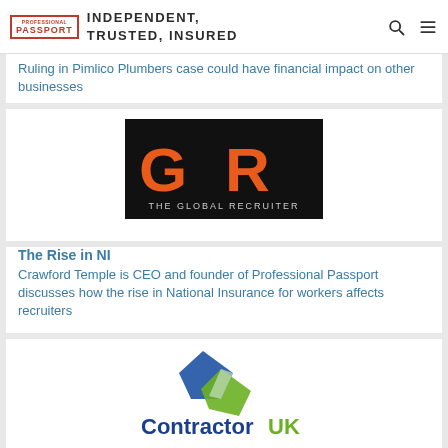INDEPENDENT, TRUSTED, INSURED
Ruling in Pimlico Plumbers case could have financial impact on other businesses
[Figure (logo): The Global Recruiter logo — black background with orange GR letters and white text 'THE GLOBAL RECRUITER' below]
The Rise in NI
Crawford Temple is CEO and founder of Professional Passport discusses how the rise in National Insurance for workers affects recruiters
[Figure (logo): Contractor UK logo — blue and green overlapping diamond shapes with text 'Contractor UK' in blue and green]